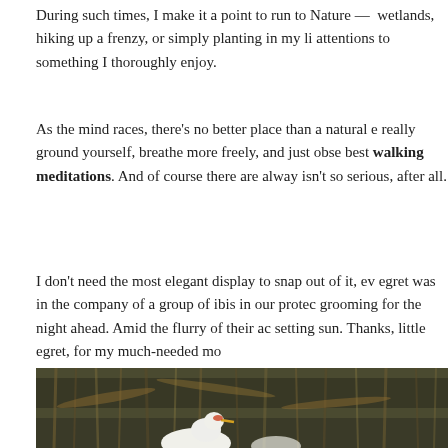During such times, I make it a point to run to Nature — wetlands, hiking up a frenzy, or simply planting in my li... attentions to something I thoroughly enjoy.
As the mind races, there's no better place than a natural e... really ground yourself, breathe more freely, and just obse... best walking meditations. And of course there are alwa... isn't so serious, after all.
I don't need the most elegant display to snap out of it, ev... egret was in the company of a group of ibis in our protec... grooming for the night ahead. Amid the flurry of their ac... setting sun. Thanks, little egret, for my much-needed mo...
[Figure (photo): A nature photograph showing wetland vegetation with reeds and brown dry plant matter in the background, and a white egret or ibis bird visible at the bottom of the frame.]